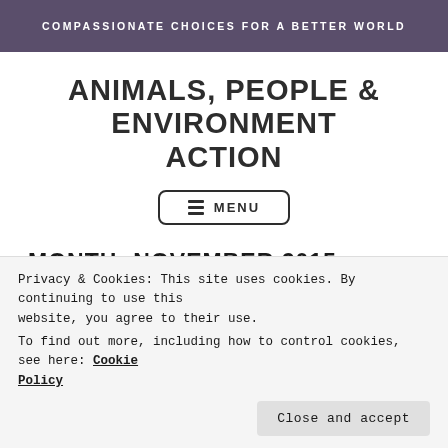COMPASSIONATE CHOICES FOR A BETTER WORLD
ANIMALS, PEOPLE & ENVIRONMENT ACTION
[Figure (other): MENU navigation button with hamburger icon and rounded border]
MONTH: NOVEMBER 2015
[Figure (photo): Partial wildlife/nature photograph showing blurred background with brownish curved element, likely a bird or animal]
Privacy & Cookies: This site uses cookies. By continuing to use this website, you agree to their use.
To find out more, including how to control cookies, see here: Cookie Policy